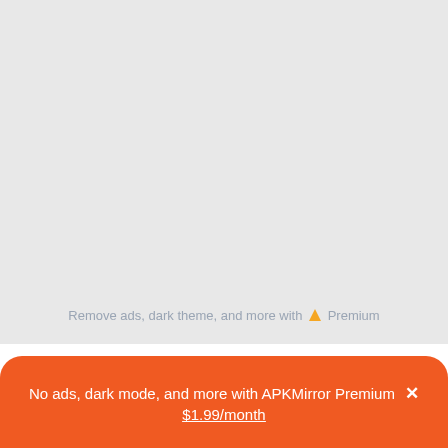[Figure (screenshot): Gray background area, top portion of mobile app screen]
Remove ads, dark theme, and more with ▲ Premium
Latest Uploads
GoBiz - Merchant App - GoFood, GoKasir, GoPay 3.48.1
No ads, dark mode, and more with APKMirror Premium × $1.99/month